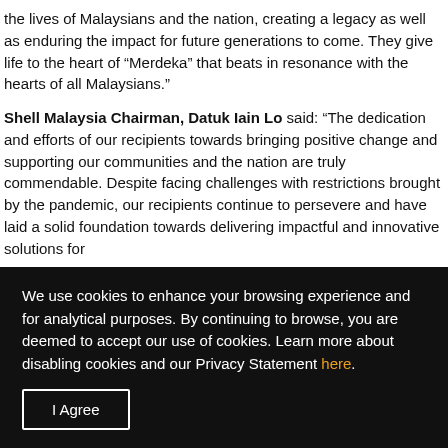the lives of Malaysians and the nation, creating a legacy as well as enduring the impact for future generations to come. They give life to the heart of “Merdeka” that beats in resonance with the hearts of all Malaysians.”
Shell Malaysia Chairman, Datuk Iain Lo said: “The dedication and efforts of our recipients towards bringing positive change and supporting our communities and the nation are truly commendable. Despite facing challenges with restrictions brought by the pandemic, our recipients continue to persevere and have laid a solid foundation towards delivering impactful and innovative solutions for
We use cookies to enhance your browsing experience and for analytical purposes. By continuing to browse, you are deemed to accept our use of cookies. Learn more about disabling cookies and our Privacy Statement here.
I Agree